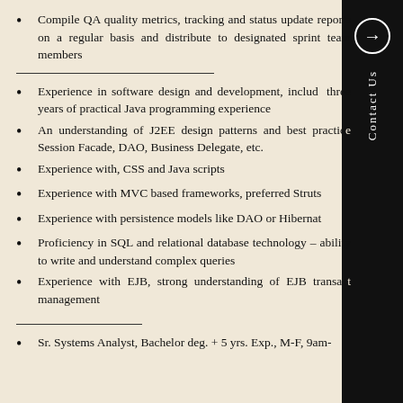Compile QA quality metrics, tracking and status update reports on a regular basis and distribute to designated sprint team members
Experience in software design and development, including three years of practical Java programming experience
An understanding of J2EE design patterns and best practices Session Facade, DAO, Business Delegate, etc.
Experience with, CSS and Java scripts
Experience with MVC based frameworks, preferred Struts
Experience with persistence models like DAO or Hibernate
Proficiency in SQL and relational database technology – ability to write and understand complex queries
Experience with EJB, strong understanding of EJB transaction management
Sr. Systems Analyst, Bachelor deg. + 5 yrs. Exp., M-F, 9am-